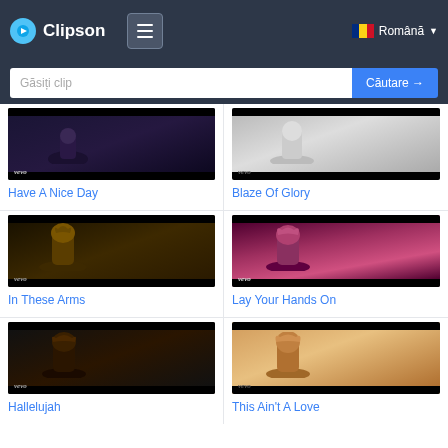Clipson — Română
Găsiți clip
[Figure (screenshot): Video thumbnail for Have A Nice Day music video]
Have A Nice Day
[Figure (screenshot): Video thumbnail for Blaze Of Glory music video]
Blaze Of Glory
[Figure (screenshot): Video thumbnail for In These Arms music video]
In These Arms
[Figure (screenshot): Video thumbnail for Lay Your Hands On music video]
Lay Your Hands On
[Figure (screenshot): Video thumbnail for Hallelujah music video]
Hallelujah
[Figure (screenshot): Video thumbnail for This Ain't A Love music video]
This Ain't A Love